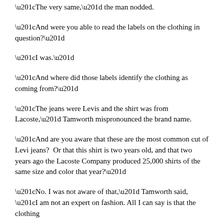“The very same,” the man nodded.
“And were you able to read the labels on the clothing in question?”
“I was.”
“And where did those labels identify the clothing as coming from?”
“The jeans were Levis and the shirt was from Lacoste,” Tamworth mispronounced the brand name.
“And are you aware that these are the most common cut of Levi jeans?  Or that this shirt is two years old, and that two years ago the Lacoste Company produced 25,000 shirts of the same size and color that year?”
“No. I was not aware of that,” Tamworth said, “I am not an expert on fashion. All I can say is that the clothing